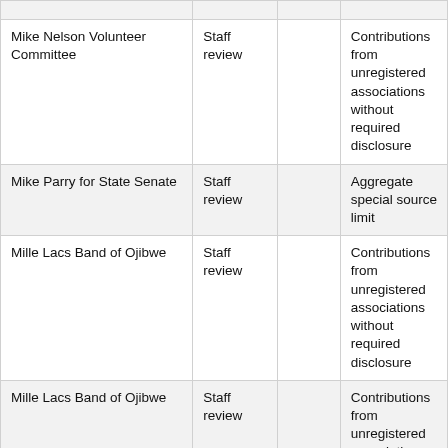|  |  |  |  |
| Mike Nelson Volunteer Committee | Staff review |  | Contributions from unregistered associations without required disclosure |
| Mike Parry for State Senate | Staff review |  | Aggregate special source limit |
| Mille Lacs Band of Ojibwe | Staff review |  | Contributions from unregistered associations without required disclosure |
| Mille Lacs Band of Ojibwe | Staff review |  | Contributions from unregistered associations without required disclosure |